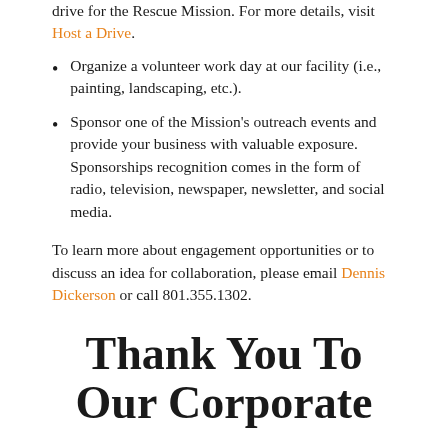drive for the Rescue Mission. For more details, visit Host a Drive.
Organize a volunteer work day at our facility (i.e., painting, landscaping, etc.).
Sponsor one of the Mission's outreach events and provide your business with valuable exposure. Sponsorships recognition comes in the form of radio, television, newspaper, newsletter, and social media.
To learn more about engagement opportunities or to discuss an idea for collaboration, please email Dennis Dickerson or call 801.355.1302.
Thank You To Our Corporate